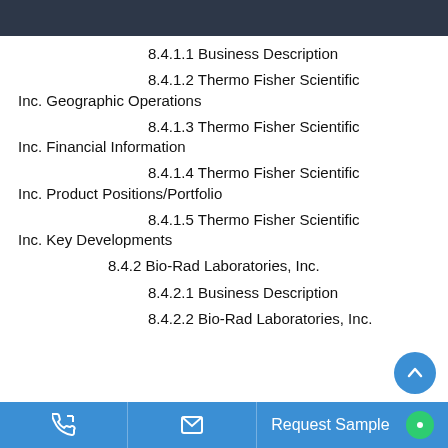8.4.1.1 Business Description
8.4.1.2 Thermo Fisher Scientific Inc. Geographic Operations
8.4.1.3 Thermo Fisher Scientific Inc. Financial Information
8.4.1.4 Thermo Fisher Scientific Inc. Product Positions/Portfolio
8.4.1.5 Thermo Fisher Scientific Inc. Key Developments
8.4.2 Bio-Rad Laboratories, Inc.
8.4.2.1 Business Description
8.4.2.2 Bio-Rad Laboratories, Inc.